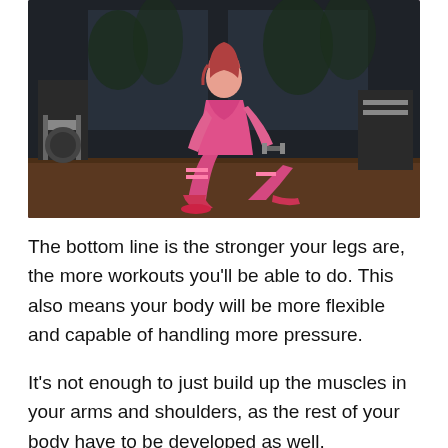[Figure (photo): A fit woman in pink athletic wear performing a lunge exercise in a gym, holding small weights. The gym setting has equipment visible in the background including barbells and machines.]
The bottom line is the stronger your legs are, the more workouts you'll be able to do. This also means your body will be more flexible and capable of handling more pressure.
It's not enough to just build up the muscles in your arms and shoulders, as the rest of your body have to be developed as well.